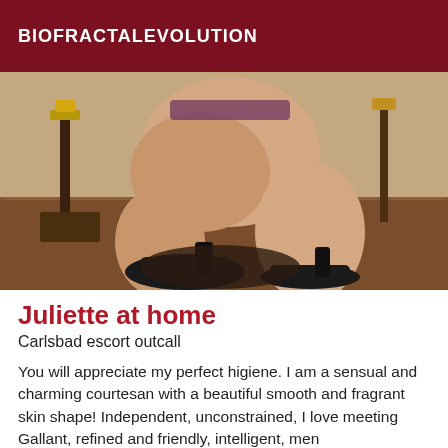BIOFRACTALEVOLUTION
[Figure (photo): A person wearing black high heels on a leather couch, partial body view from behind]
Juliette at home
Carlsbad escort outcall
You will appreciate my perfect higiene. I am a sensual and charming courtesan with a beautiful smooth and fragrant skin shape! Independent, unconstrained, I love meeting Gallant, refined and friendly, intelligent, men